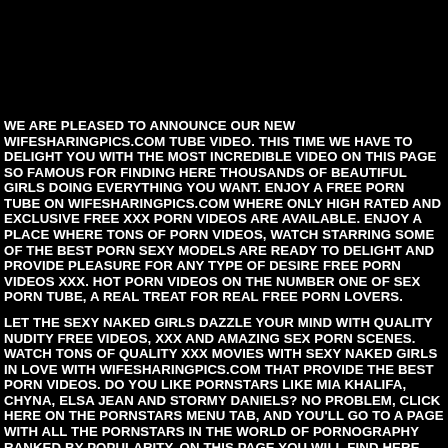WE ARE PLEASED TO ANNOUNCE OUR NEW WIFESHARINGPICS.COM TUBE VIDEO. THIS TIME WE HAVE TO DELIGHT YOU WITH THE MOST INCREDIBLE VIDEO ON THIS PAGE SO FAMOUS FOR FINDING HERE THOUSANDS OF BEAUTIFUL GIRLS DOING EVERYTHING YOU WANT. ENJOY A FREE PORN TUBE ON WIFESHARINGPICS.COM WHERE ONLY HIGH RATED AND EXCLUSIVE FREE XXX PORN VIDEOS ARE AVAILABLE. ENJOY A PLACE WHERE TONS OF PORN VIDEOS, WATCH STARRING SOME OF THE BEST PORN SEXY MODELS ARE READY TO DELIGHT AND PROVIDE PLEASURE FOR ANY TYPE OF DESIRE FREE PORN VIDEOS XXX. HOT PORN VIDEOS ON THE NUMBER ONE OF SEX PORN TUBE, A REAL TREAT FOR REAL FREE PORN LOVERS.
LET THE SEXY NAKED GIRLS DAZZLE YOUR MIND WITH QUALITY NUDITY FREE VIDEOS, XXX AND AMAZING SEX PORN SCENES. WATCH TONS OF QUALITY XXX MOVIES WITH SEXY NAKED GIRLS IN LOVE WITH WIFESHARINGPICS.COM THAT PROVIDE THE BEST PORN VIDEOS. DO YOU LIKE PORNSTARS LIKE MIA KHALIFA, CHYNA, ELSA JEAN AND STORMY DANIELS? NO PROBLEM, CLICK HERE ON THE PORNSTARS MENU TAB, AND YOU'LL GO TO A PAGE WITH ALL THE PORNSTARS IN THE WORLD OF PORNOGRAPHY RANKED BY POPULARITY. ON THIS PAGE YOU WILL FIND HERE ONLY THE BEST PORN VIDEOS, WHICH ARE PRESENTED IN EXCELLENT QUALITY AND HAVE A WIDE VARIETY OF FREE VIDEO PLOTS.